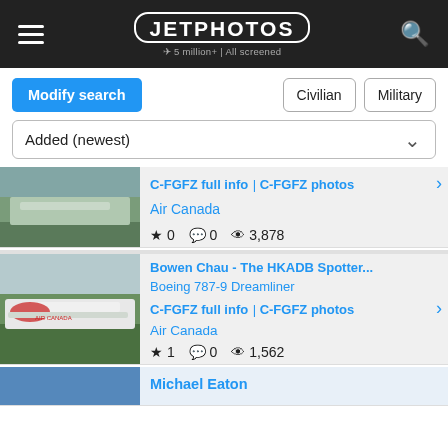JETPHOTOS — 5 million+ | All screened
Modify search | Civilian | Military
Added (newest)
[Figure (photo): Air Canada aircraft on tarmac (partial top view)]
C-FGFZ full info | C-FGFZ photos
Air Canada
★ 0  💬 0  👁 3,878
[Figure (photo): Air Canada Boeing 787-9 Dreamliner on tarmac]
Bowen Chau - The HKADB Spotter...
Boeing 787-9 Dreamliner
C-FGFZ full info | C-FGFZ photos
Air Canada
★ 1  💬 0  👁 1,562
Michael Eaton